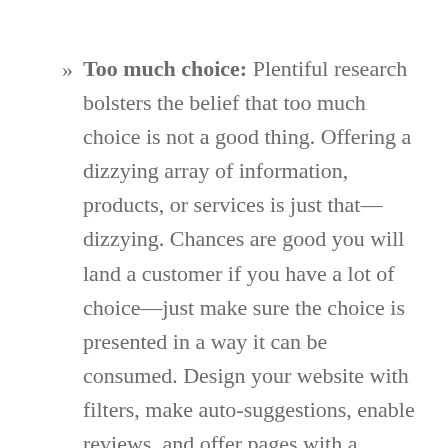Too much choice: Plentiful research bolsters the belief that too much choice is not a good thing. Offering a dizzying array of information, products, or services is just that—dizzying. Chances are good you will land a customer if you have a lot of choice—just make sure the choice is presented in a way it can be consumed. Design your website with filters, make auto-suggestions, enable reviews, and offer pages with a limited number of products, to create a pathway to purchase in digestible